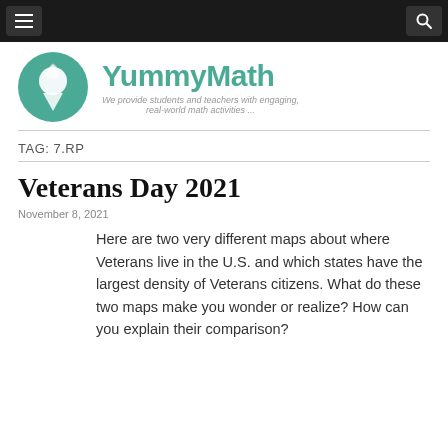YummyMath navigation bar
[Figure (logo): YummyMath logo: teal circle with soft-serve ice cream icon, beside the text 'YummyMath' in teal and tagline 'We provide students and teachers with engaging, real-world math activities ...']
TAG: 7.RP
Veterans Day 2021
November 8, 2021
Here are two very different maps about where Veterans live in the U.S. and which states have the largest density of Veterans citizens. What do these two maps make you wonder or realize? How can you explain their comparison?